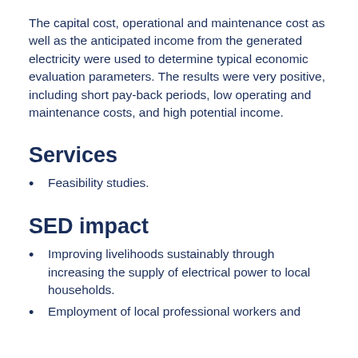The capital cost, operational and maintenance cost as well as the anticipated income from the generated electricity were used to determine typical economic evaluation parameters. The results were very positive, including short pay-back periods, low operating and maintenance costs, and high potential income.
Services
Feasibility studies.
SED impact
Improving livelihoods sustainably through increasing the supply of electrical power to local households.
Employment of local professional workers and...